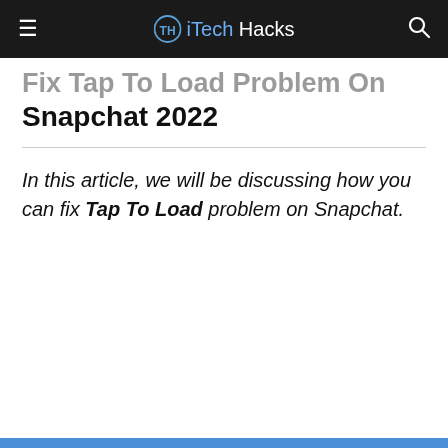iTech Hacks
Fix Tap To Load Problem On Snapchat 2022
In this article, we will be discussing how you can fix Tap To Load problem on Snapchat.